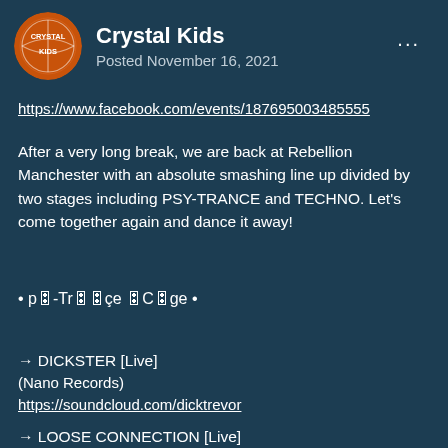Crystal Kids
Posted November 16, 2021
https://www.facebook.com/events/187695003485555
After a very long break, we are back at Rebellion Manchester with an absolute smashing line up divided by two stages including PSY-TRANCE and TECHNO. Let's come together again and dance it away!
• p🎛-Tr🎛🎛çe 🎛C🎛ge •
→ DICKSTER [Live]
(Nano Records)
https://soundcloud.com/dicktrevor
→ LOOSE CONNECTION [Live]